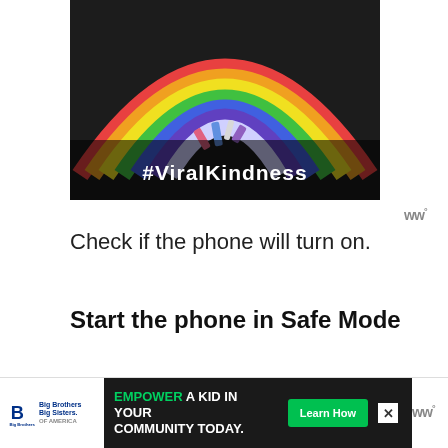[Figure (photo): A chalk-drawn rainbow on dark pavement with colored chalk pieces scattered at the base, with white text '#ViralKindness' overlaid at the bottom of the image.]
Check if the phone will turn on.
Start the phone in Safe Mode
There are instances when an app you
[Figure (infographic): Advertisement banner: Big Brothers Big Sisters logo on left, dark background with text 'EMPOWER A KID IN YOUR COMMUNITY TODAY.' with green 'Learn How' button, close X button, and WW logo on right.]